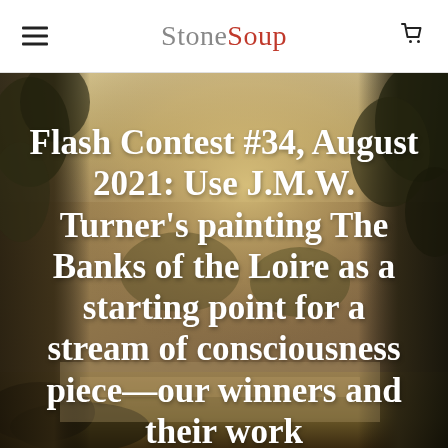StoneSoup
[Figure (illustration): J.M.W. Turner's painting 'The Banks of the Loire' — a landscape painting showing trees on the sides, a luminous sky, and a river scene with warm golden-brown tones.]
Flash Contest #34, August 2021: Use J.M.W. Turner's painting The Banks of the Loire as a starting point for a stream of consciousness piece—our winners and their work